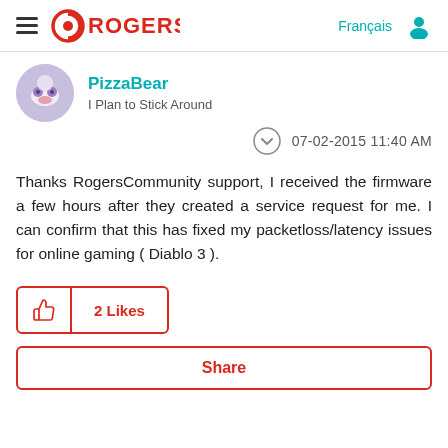ROGERS — Français
PizzaBear
I Plan to Stick Around
07-02-2015 11:40 AM
Thanks RogersCommunity support, I received the firmware a few hours after they created a service request for me. I can confirm that this has fixed my packetloss/latency issues for online gaming ( Diablo 3 ).
2 Likes
Share